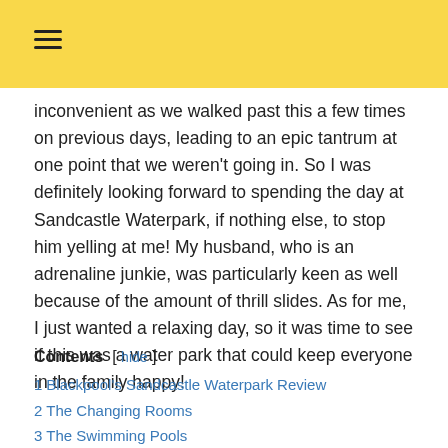≡
inconvenient as we walked past this a few times on previous days, leading to an epic tantrum at one point that we weren't going in. So I was definitely looking forward to spending the day at Sandcastle Waterpark, if nothing else, to stop him yelling at me! My husband, who is an adrenaline junkie, was particularly keen as well because of the amount of thrill slides. As for me, I just wanted a relaxing day, so it was time to see if this was a water park that could keep everyone in the family happy!
Contents [ hide ]
1 Blackpool's Sandcastle Waterpark Review
2 The Changing Rooms
3 The Swimming Pools
4 The Family Slides